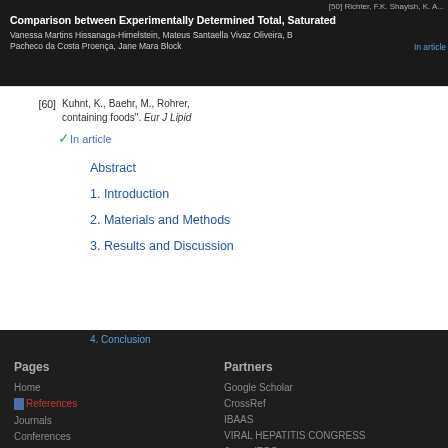Comparison between Experimentally Determined Total, Saturated
Vanessa Martins Hissanaga-Himelstein, Mateus Santaella Vivaz Oliveira, B... Pacheco da Costa Proença, Jane Mara Block
[60] Kuhnt, K., Baehr, M., Rohrer, ... containing foods". Eur J Lipid...
In article
Abstract
1. Introduction
2. Materials and Methods
3. Results and Discussion
Pages  Partners  Home  Google Scholar  About  References  CrossRef  Journals  IBAAS  Conferences  VIRAL HEPATITIS CONGRESS  Special Issues  JournalTOCs